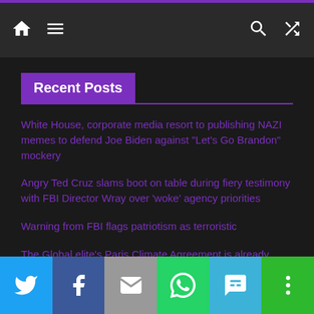Navigation bar with home, menu, search, and shuffle icons
Recent Posts
White House, corporate media resort to publishing NAZI memes to defend Joe Biden against “Let’s Go Brandon” mockery
Angry Ted Cruz slams boot on table during fiery testimony with FBI Director Wray over ‘woke’ agency priorities
Warning from FBI flags patriotism as terroristic
The Global elite’s Paris Climate Agreement is already threatening small farms, starving the poor, causing global protests
Sen. Ron Johnson says he has seen proof that Hunter Biden is working ‘directly for communist China’
Share buttons: Twitter, Facebook, Email, WhatsApp, SMS, More